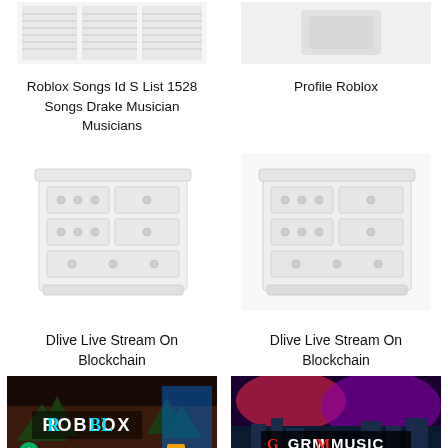[Figure (screenshot): Roblox songs ID list with table of songs]
Roblox Songs Id S List 1528 Songs Drake Musician Musicians
[Figure (screenshot): Profile Roblox image showing a white object on light background]
Profile Roblox
[Figure (photo): White dresser/chest of drawers furniture item]
Dlive Live Stream On Blockchain
[Figure (photo): White dresser/chest of drawers furniture item, same as left]
Dlive Live Stream On Blockchain
[Figure (screenshot): Roblox game screenshot with ROBLOX logo and game scene]
[Figure (screenshot): GRM MUSIC logo on colorful background]